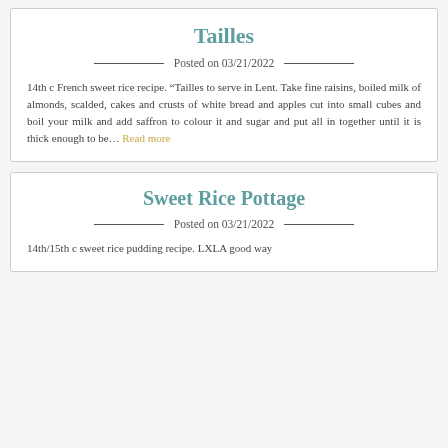Tailles
Posted on 03/21/2022
14th c French sweet rice recipe. “Tailles to serve in Lent. Take fine raisins, boiled milk of almonds, scalded, cakes and crusts of white bread and apples cut into small cubes and boil your milk and add saffron to colour it and sugar and put all in together until it is thick enough to be... Read more
Sweet Rice Pottage
Posted on 03/21/2022
14th/15th c sweet rice pudding recipe. LXLA good way